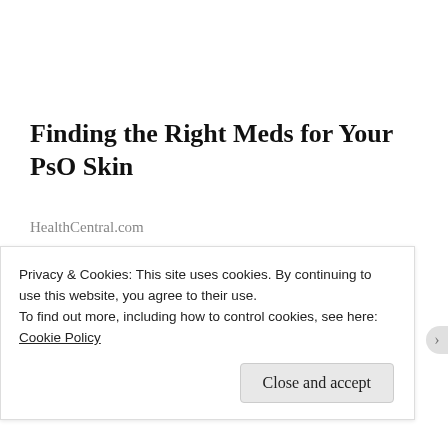Finding the Right Meds for Your PsO Skin
HealthCentral.com
Share this:
Twitter  Facebook
Privacy & Cookies: This site uses cookies. By continuing to use this website, you agree to their use.
To find out more, including how to control cookies, see here: Cookie Policy
Close and accept